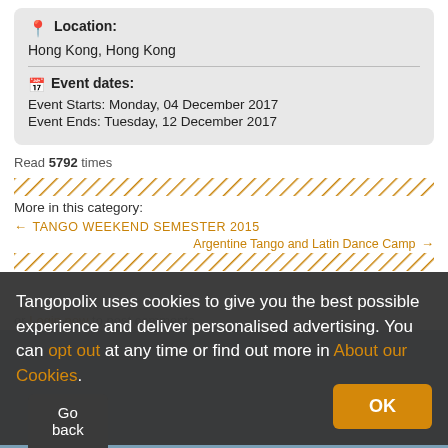Location: Hong Kong, Hong Kong
Event dates: Event Starts: Monday, 04 December 2017 Event Ends: Tuesday, 12 December 2017
Read 5792 times
More in this category:
← TANGO WEEKEND SEMESTER 2015
Argentine Tango and Latin Dance Camp →
REVIEWS
Tangopolix uses cookies to give you the best possible experience and deliver personalised advertising. You can opt out at any time or find out more in About our Cookies.
Login now to post comments
OK
Go back